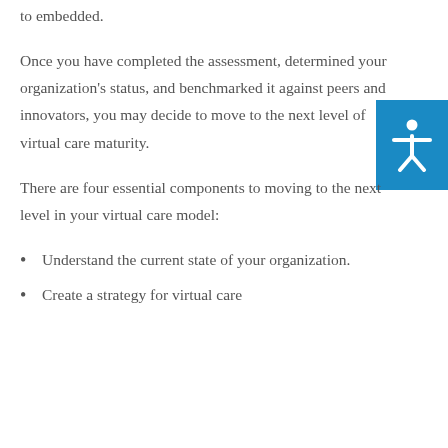to embedded.
Once you have completed the assessment, determined your organization's status, and benchmarked it against peers and innovators, you may decide to move to the next level of virtual care maturity.
There are four essential components to moving to the next level in your virtual care model:
Understand the current state of your organization.
Create a strategy for virtual care